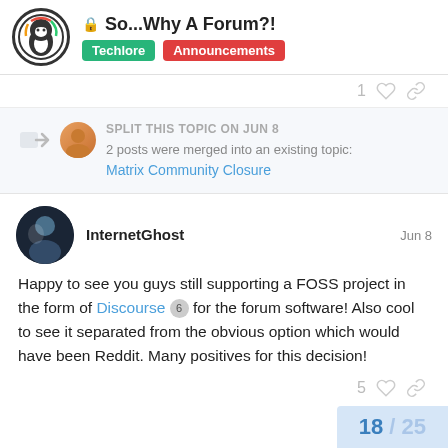So...Why A Forum?! | Techlore | Announcements
1 [like] [share]
SPLIT THIS TOPIC ON JUN 8
2 posts were merged into an existing topic:
Matrix Community Closure
InternetGhost  Jun 8
Happy to see you guys still supporting a FOSS project in the form of Discourse 6 for the forum software! Also cool to see it separated from the obvious option which would have been Reddit. Many positives for this decision!
5 [like] [share]
18 / 25